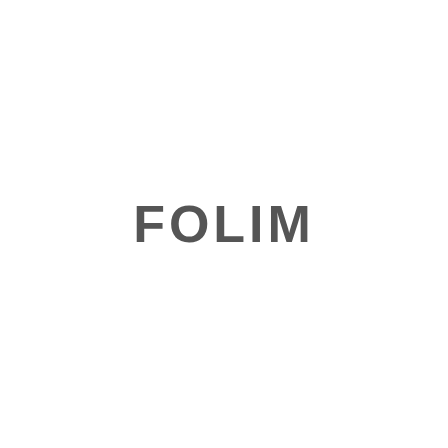[Figure (logo): FOLIM logo — bold sans-serif uppercase text in dark gray on white background]